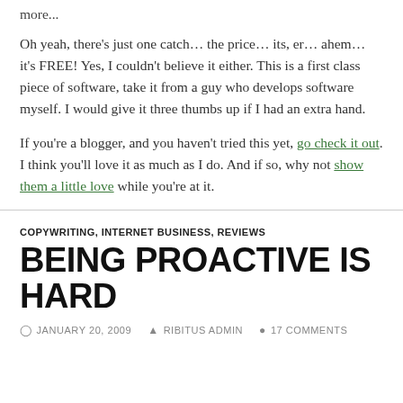more...
Oh yeah, there’s just one catch… the price… its, er… ahem… it’s FREE! Yes, I couldn’t believe it either. This is a first class piece of software, take it from a guy who develops software myself. I would give it three thumbs up if I had an extra hand.
If you’re a blogger, and you haven’t tried this yet, go check it out. I think you’ll love it as much as I do. And if so, why not show them a little love while you’re at it.
COPYWRITING, INTERNET BUSINESS, REVIEWS
BEING PROACTIVE IS HARD
JANUARY 20, 2009  RIBITUS ADMIN  17 COMMENTS